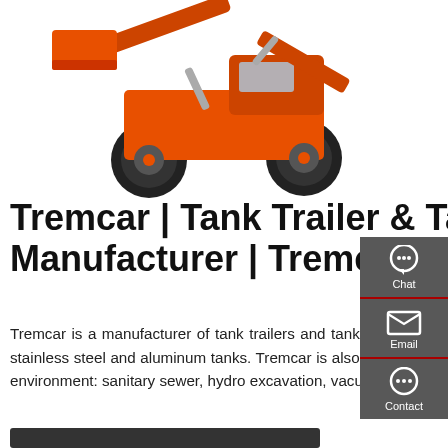[Figure (photo): Orange/red front-end loader / construction wheel loader machine photographed against a white background]
Tremcar | Tank Trailer & Tank Truck Manufacturer | Tremcar
Tremcar is a manufacturer of tank trailers and tank trucks for the North American market. Its production output includes stainless steel and aluminum tanks. Tremcar is also specialized in manufacturing vacuum tanks dedicated to cleaning the environment: sanitary sewer, hydro excavation, vacuum sump and other specialized tanks.